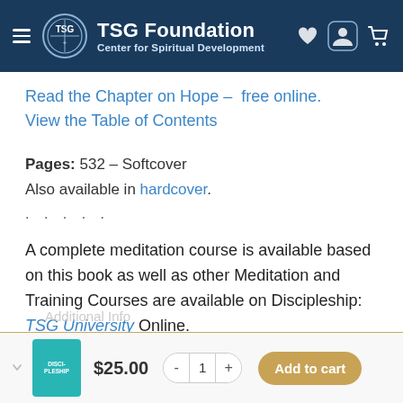TSG Foundation — Center for Spiritual Development
Read the Chapter on Hope – free online.
View the Table of Contents
Pages: 532 – Softcover
Also available in hardcover.
. . . . .
A complete meditation course is available based on this book as well as other Meditation and Training Courses are available on Discipleship: TSG University Online.
$25.00   -  1  +   Add to cart